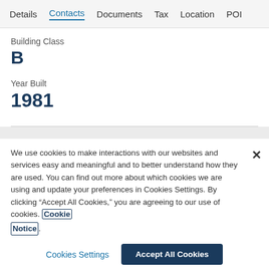Details  Contacts  Documents  Tax  Location  POI
Building Class
B
Year Built
1981
We use cookies to make interactions with our websites and services easy and meaningful and to better understand how they are used. You can find out more about which cookies we are using and update your preferences in Cookies Settings. By clicking "Accept All Cookies," you are agreeing to our use of cookies. Cookie Notice.
Cookies Settings
Accept All Cookies